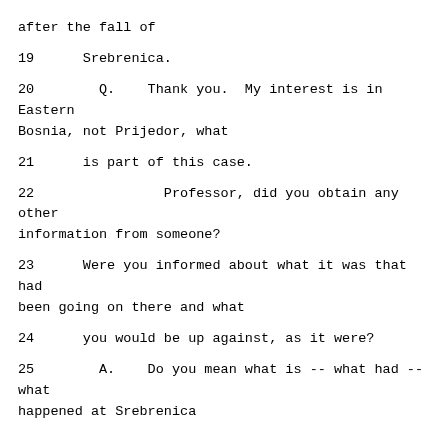after the fall of
19      Srebrenica.
20        Q.    Thank you.  My interest is in Eastern Bosnia, not Prijedor, what
21      is part of this case.
22              Professor, did you obtain any other information from someone?
23      Were you informed about what it was that had been going on there and what
24      you would be up against, as it were?
25        A.    Do you mean what is -- what had -- what happened at Srebrenica